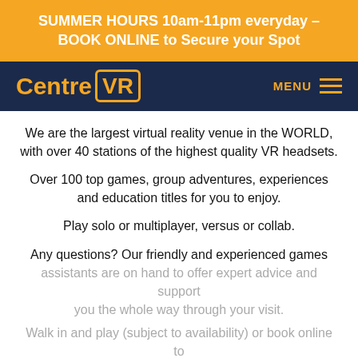SUMMER HOURS 10am-11pm everyday – BOOK ONLINE to Secure your Spot
[Figure (logo): CentreVR logo in orange text with VR in a rounded rectangle border, on dark navy background, with MENU hamburger icon on the right]
We are the largest virtual reality venue in the WORLD, with over 40 stations of the highest quality VR headsets.
Over 100 top games, group adventures, experiences and education titles for you to enjoy.
Play solo or multiplayer, versus or collab.
Any questions? Our friendly and experienced games assistants are on hand to offer expert advice and support you the whole way through your visit.
Walk in and play (subject to availability) or book online to secure your spot and avoid disappointment.
By clicking or navigating the site, you agree to the FareHarbor Terms of Service and Privacy Policy, and to our partners use of data related to your use of our website. Like other websites, we use cookies and similar technologies to collect that data in order to deliver personalized advertising based on your interests. See Our Use of Cookies to learn more about your rights and our partners.